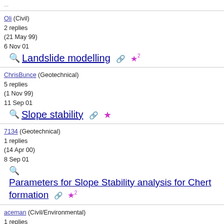Oli (Civil)
2 replies
(21 May 99)
6 Nov 01
Landslide modelling ★2
ChrisBunce (Geotechnical)
5 replies
(1 Nov 99)
11 Sep 01
Slope stability ★
7134 (Geotechnical)
1 replies
(14 Apr 00)
8 Sep 01
Parameters for Slope Stability analysis for Chert formation ★2
aceman (Civil/Environmental)
1 replies
(24 Mar 01)
8 Sep 01
Steep Slope ★2
uno (Electrical)